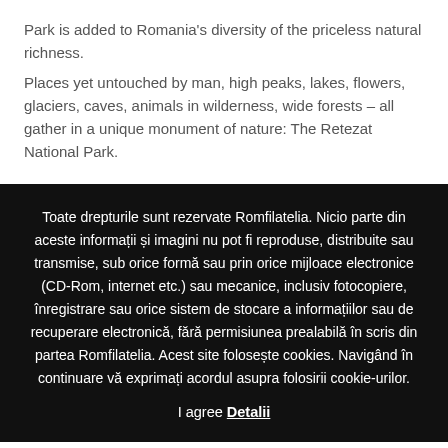Park is added to Romania's diversity of the priceless natural richness.
Places yet untouched by man, high peaks, lakes, flowers, glaciers, caves, animals in wilderness, wide forests – all gather in a unique monument of nature: The Retezat National Park.
Toate drepturile sunt rezervate Romfilatelia. Nicio parte din aceste informații și imagini nu pot fi reproduse, distribuite sau transmise, sub orice formă sau prin orice mijloace electronice (CD-Rom, internet etc.) sau mecanice, inclusiv fotocopiere, înregistrare sau orice sistem de stocare a informațiilor sau de recuperare electronică, fără permisiunea prealabilă în scris din partea Romfilatelia. Acest site folosește cookies. Navigând în continuare vă exprimați acordul asupra folosirii cookie-urilor.
I agree Detalii